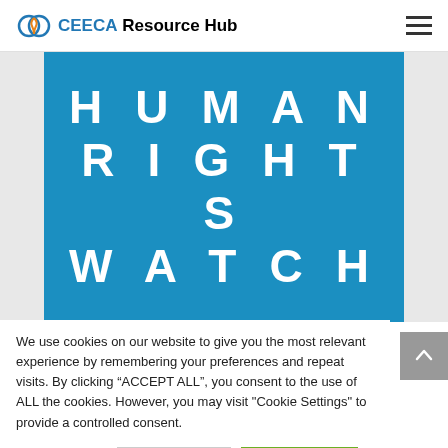CEECA Resource Hub
[Figure (logo): Human Rights Watch logo on blue background with white spaced text: HUMAN RIGHTS WATCH]
We use cookies on our website to give you the most relevant experience by remembering your preferences and repeat visits. By clicking “ACCEPT ALL”, you consent to the use of ALL the cookies. However, you may visit "Cookie Settings" to provide a controlled consent.
Cookie Settings  REJECT ALL  ACCEPT ALL